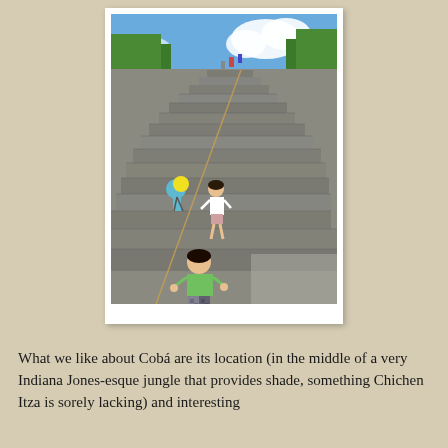[Figure (photo): Children climbing the steep stone steps of the Coba pyramid in Mexico. A boy in a green shirt stands at the base looking up, a girl in white climbs midway, and other visitors are visible near the top. Blue sky and green trees visible at the top.]
What we like about Cobá are its location (in the middle of a very Indiana Jones-esque jungle that provides shade, something Chichen Itza is sorely lacking) and interesting